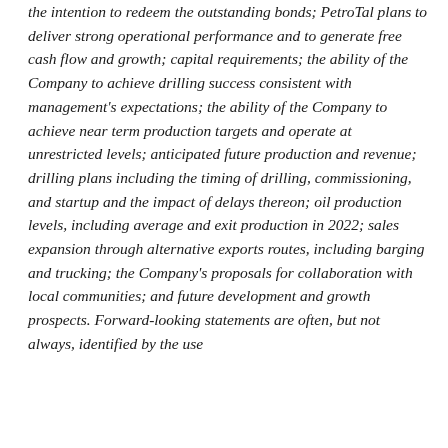the intention to redeem the outstanding bonds; PetroTal plans to deliver strong operational performance and to generate free cash flow and growth; capital requirements; the ability of the Company to achieve drilling success consistent with management's expectations; the ability of the Company to achieve near term production targets and operate at unrestricted levels; anticipated future production and revenue; drilling plans including the timing of drilling, commissioning, and startup and the impact of delays thereon; oil production levels, including average and exit production in 2022; sales expansion through alternative exports routes, including barging and trucking; the Company's proposals for collaboration with local communities; and future development and growth prospects. Forward-looking statements are often, but not always, identified by the use